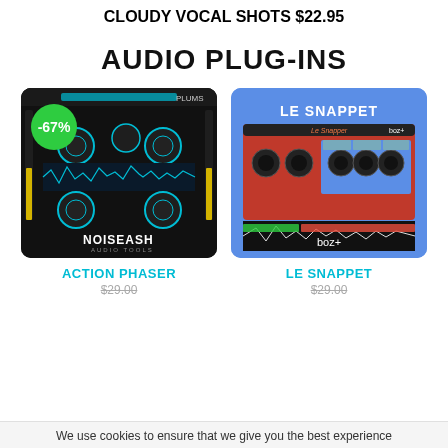CLOUDY VOCAL SHOTS
$22.95
AUDIO PLUG-INS
[Figure (screenshot): NoiseAsh Action Phaser audio plugin interface on dark background with -67% discount badge]
[Figure (screenshot): Boz Digital Le Snappet audio plugin interface on blue background with red/black waveform display]
ACTION PHASER
LE SNAPPET
We use cookies to ensure that we give you the best experience